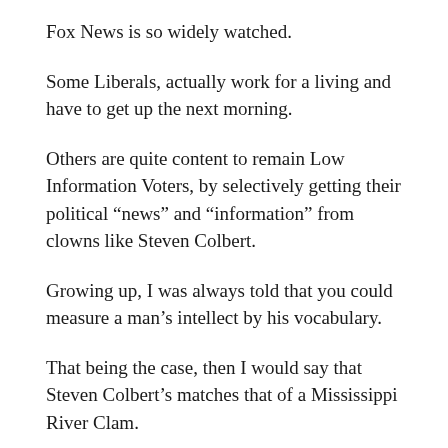Fox News is so widely watched.
Some Liberals, actually work for a living and have to get up the next morning.
Others are quite content to remain Low Information Voters, by selectively getting their political “news” and “information” from clowns like Steven Colbert.
Growing up, I was always told that you could measure a man’s intellect by his vocabulary.
That being the case, then I would say that Steven Colbert’s matches that of a Mississippi River Clam.
Until He Comes